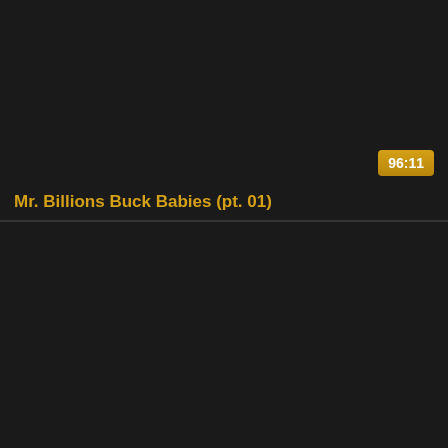[Figure (screenshot): Dark video thumbnail card with duration badge showing 96:11 and title 'Mr. Billions Buck Babies (pt. 01)' in gold text at the bottom]
[Figure (screenshot): Second dark video thumbnail card below, no visible title or badge, mostly black/dark]